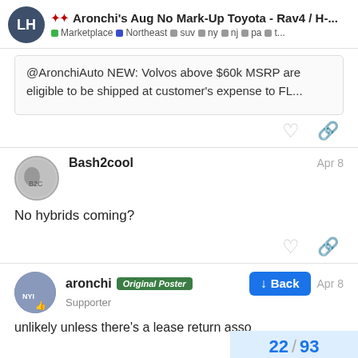Aronchi's Aug No Mark-Up Toyota - Rav4 / H-... | Marketplace · Northeast · suv · ny · nj · pa · t...
@AronchiAuto NEW: Volvos above $60k MSRP are eligible to be shipped at customer's expense to FL...
Bash2cool  Apr 8
No hybrids coming?
aronchi  Original Poster  Supporter  Apr 8
unlikely unless there's a lease return asso